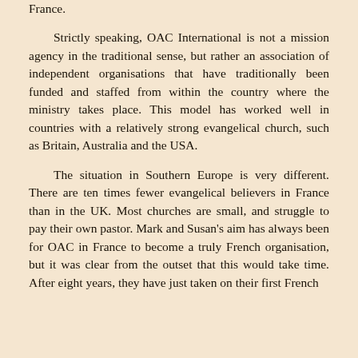France.
Strictly speaking, OAC International is not a mission agency in the traditional sense, but rather an association of independent organisations that have traditionally been funded and staffed from within the country where the ministry takes place. This model has worked well in countries with a relatively strong evangelical church, such as Britain, Australia and the USA.
The situation in Southern Europe is very different. There are ten times fewer evangelical believers in France than in the UK. Most churches are small, and struggle to pay their own pastor. Mark and Susan's aim has always been for OAC in France to become a truly French organisation, but it was clear from the outset that this would take time. After eight years, they have just taken on their first French